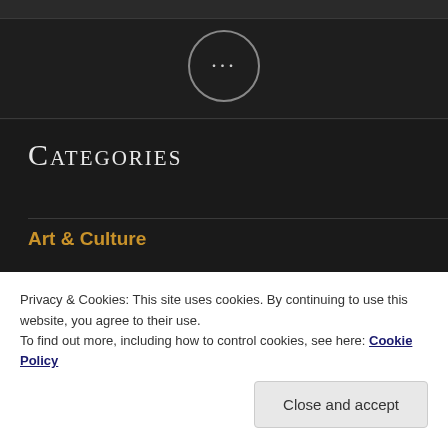[Figure (other): Dark header bar with ellipsis (…) circle button on dark background]
Categories
Art & Culture
Business
Deutsch
Privacy & Cookies: This site uses cookies. By continuing to use this website, you agree to their use.
To find out more, including how to control cookies, see here: Cookie Policy
Close and accept